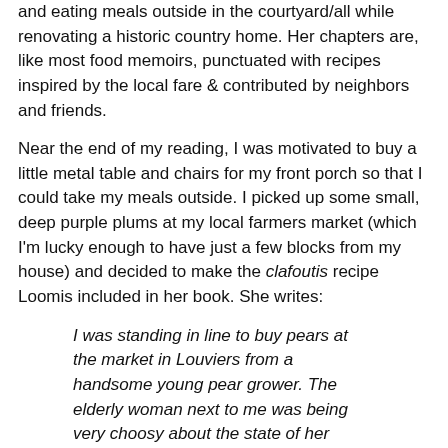and eating meals outside in the courtyard/all while renovating a historic country home. Her chapters are, like most food memoirs, punctuated with recipes inspired by the local fare & contributed by neighbors and friends.
Near the end of my reading, I was motivated to buy a little metal table and chairs for my front porch so that I could take my meals outside. I picked up some small, deep purple plums at my local farmers market (which I'm lucky enough to have just a few blocks from my house) and decided to make the clafoutis recipe Loomis included in her book. She writes:
I was standing in line to buy pears at the market in Louviers from a handsome young pear grower. The elderly woman next to me was being very choosy about the state of her pears and their variety, and I asked her what she was going to do with them. "I'm going to make a clafoutis," she said with a mischievous look. "Oh, no. Everyone who tastes it says it is the best they've ever eaten."
The addition of honey is what Loomis says makes this recipe